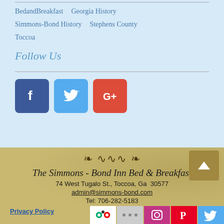BedandBreakfast   Georgia History
Simmons-Bond History   Stephens County
Toccoa
Follow Us
[Figure (logo): Social media icons: Facebook (blue), Twitter (light blue), Google+ (red)]
[Figure (illustration): Decorative ornamental swirl divider]
The Simmons-Bond Inn Bed & Breakfast
74 West Tugalo St., Toccoa, Ga  30577
admin@simmons-bond.com
Tel: 706-282-5183
Privacy Policy
[Figure (logo): Row of social media icons at bottom: TripAdvisor, unknown, Instagram, Pinterest, Twitter]